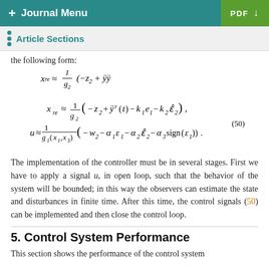+ Journal Menu   PDF ↓
Article Sections
the following form:
The implementation of the controller must be in several stages. First we have to apply a signal u, in open loop, such that the behavior of the system will be bounded; in this way the observers can estimate the state and disturbances in finite time. After this time, the control signals (50) can be implemented and then close the control loop.
5. Control System Performance
This section shows the performance of the control system